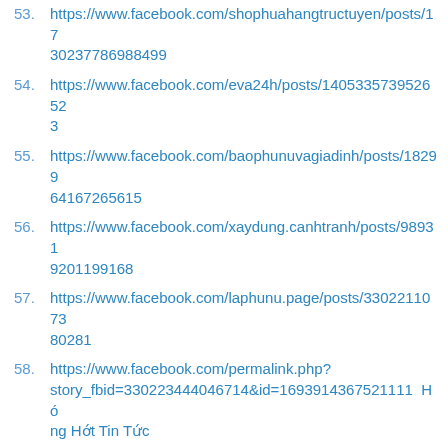53. https://www.facebook.com/shophuahangtructuyen/posts/17 30237786988499
54. https://www.facebook.com/eva24h/posts/1405335739526523
55. https://www.facebook.com/baophunuvagiadinh/posts/182996 4167265615
56. https://www.facebook.com/xaydung.canhtranh/posts/989319201199168
57. https://www.facebook.com/laphunu.page/posts/33022110738 0281
58. https://www.facebook.com/permalink.php?story_fbid=330223444046714&id=1693914367521111 Hóng Hớt Tin Tức
59. https://www.facebook.com/permalink.php?story_fbid=330223760466682&id=587320254747177 Phụ nữ tuổi 25+